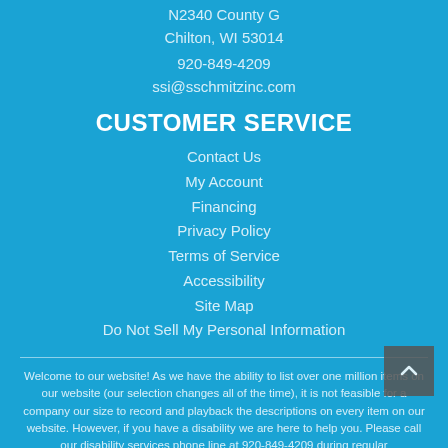N2340 County G
Chilton, WI 53014
920-849-4209
ssi@sschmitzinc.com
CUSTOMER SERVICE
Contact Us
My Account
Financing
Privacy Policy
Terms of Service
Accessibility
Site Map
Do Not Sell My Personal Information
Welcome to our website! As we have the ability to list over one million items on our website (our selection changes all of the time), it is not feasible for a company our size to record and playback the descriptions on every item on our website. However, if you have a disability we are here to help you. Please call our disability services phone line at 920-849-4209 during regular